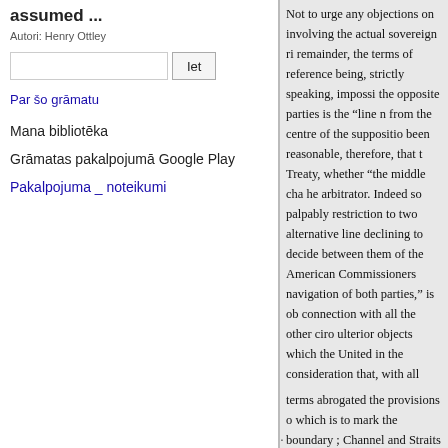assumed ...
Autori: Henry Ottley
Iet
Par šo grāmatu
Mana bibliotēka
Grāmatas pakalpojumā Google Play
Pakalpojuma _ noteikumi
Not to urge any objections on involving the actual sovereign ri remainder, the terms of reference being, strictly speaking, impossi the opposite parties is the "line n from the centre of the suppositio been reasonable, therefore, that t Treaty, whether "the middle cha he arbitrator. Indeed so palpably restriction to two alternative line declining to decide between them of the American Commissioners navigation of both parties," is ob connection with all the other ciro ulterior objects which the United in the consideration that, with all terms abrogated the provisions o which is to mark the boundary ; Channel and Straits [of Fuca] so parties" cannot be held to be in a question, and the answer they re